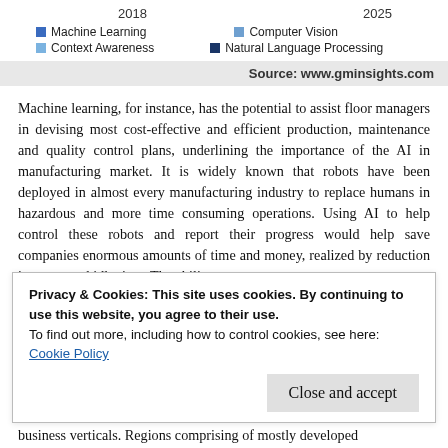[Figure (other): Legend for a chart showing years 2018 and 2025 with four categories: Machine Learning (dark blue), Computer Vision (medium blue), Context Awareness (light blue), Natural Language Processing (dark navy)]
Source: www.gminsights.com
Machine learning, for instance, has the potential to assist floor managers in devising most cost-effective and efficient production, maintenance and quality control plans, underlining the importance of the AI in manufacturing market. It is widely known that robots have been deployed in almost every manufacturing industry to replace humans in hazardous and more time consuming operations. Using AI to help control these robots and report their progress would help save companies enormous amounts of time and money, realized by reduction in errors and idle time. The ability
Privacy & Cookies: This site uses cookies. By continuing to use this website, you agree to their use.
To find out more, including how to control cookies, see here: Cookie Policy
Close and accept
business verticals. Regions comprising of mostly developed